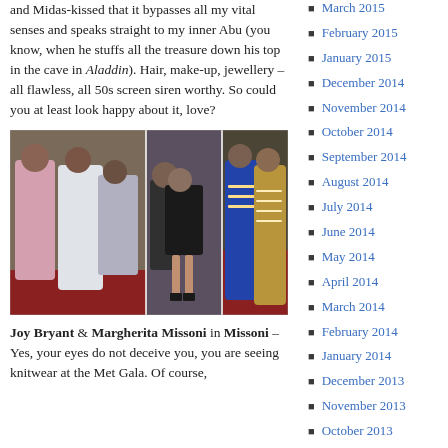and Midas-kissed that it bypasses all my vital senses and speaks straight to my inner Abu (you know, when he stuffs all the treasure down his top in the cave in Aladdin). Hair, make-up, jewellery – all flawless, all 50s screen siren worthy. So could you at least look happy about it, love?
[Figure (photo): Group photo of women in evening gowns and dresses at what appears to be a red carpet event (Met Gala). Multiple panels showing different attendees including women in colorful and black dresses.]
Joy Bryant & Margherita Missoni in Missoni – Yes, your eyes do not deceive you, you are seeing knitwear at the Met Gala. Of course,
March 2015
February 2015
January 2015
December 2014
November 2014
October 2014
September 2014
August 2014
July 2014
June 2014
May 2014
April 2014
March 2014
February 2014
January 2014
December 2013
November 2013
October 2013